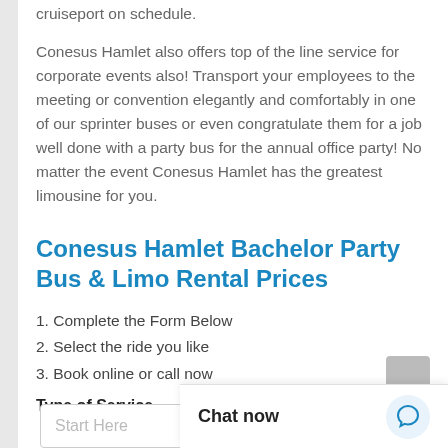cruiseport on schedule.
Conesus Hamlet also offers top of the line service for corporate events also! Transport your employees to the meeting or convention elegantly and comfortably in one of our sprinter buses or even congratulate them for a job well done with a party bus for the annual office party! No matter the event Conesus Hamlet has the greatest limousine for you.
Conesus Hamlet Bachelor Party Bus & Limo Rental Prices
1.  Complete the Form Below
2.  Select the ride you like
3.  Book online or call now
Type of Service
Start Here
Chat now